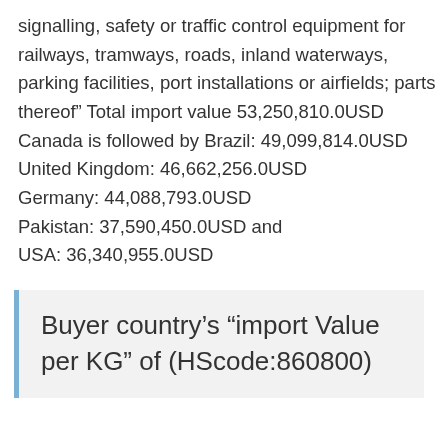signalling, safety or traffic control equipment for railways, tramways, roads, inland waterways, parking facilities, port installations or airfields; parts thereof" Total import value 53,250,810.0USD Canada is followed by Brazil: 49,099,814.0USD United Kingdom: 46,662,256.0USD Germany: 44,088,793.0USD Pakistan: 37,590,450.0USD and USA: 36,340,955.0USD
Buyer country’s “import Value per KG” of (HScode:860800)